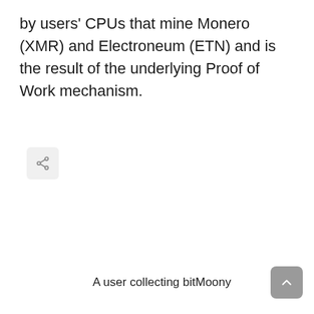by users' CPUs that mine Monero (XMR) and Electroneum (ETN) and is the result of the underlying Proof of Work mechanism.
[Figure (other): A share/export button icon (rounded square button with a share symbol)]
A user collecting bitMoony